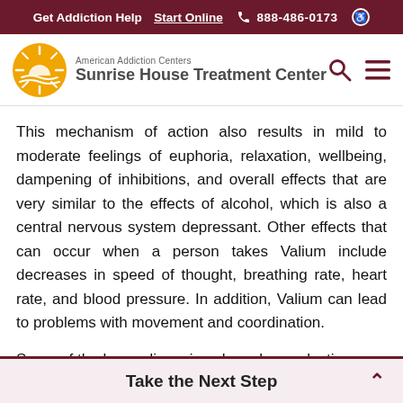Get Addiction Help  Start Online  888-486-0173
[Figure (logo): American Addiction Centers / Sunrise House Treatment Center logo with sun icon]
This mechanism of action also results in mild to moderate feelings of euphoria, relaxation, wellbeing, dampening of inhibitions, and overall effects that are very similar to the effects of alcohol, which is also a central nervous system depressant. Other effects that can occur when a person takes Valium include decreases in speed of thought, breathing rate, heart rate, and blood pressure. In addition, Valium can lead to problems with movement and coordination.
Some of the benzodiazepines have longer-lasting
Take the Next Step